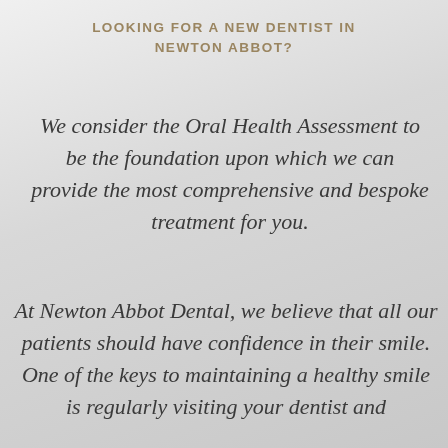LOOKING FOR A NEW DENTIST IN NEWTON ABBOT?
We consider the Oral Health Assessment to be the foundation upon which we can provide the most comprehensive and bespoke treatment for you.
At Newton Abbot Dental, we believe that all our patients should have confidence in their smile. One of the keys to maintaining a healthy smile is regularly visiting your dentist and